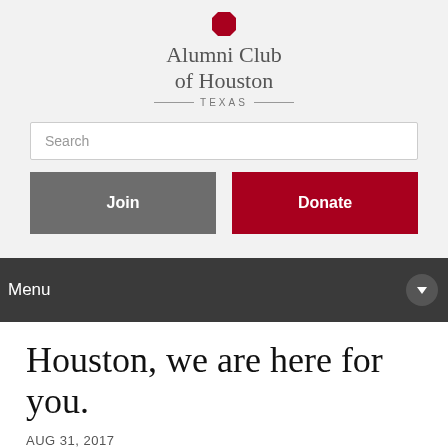[Figure (logo): Alumni Club of Houston Texas logo with red octagon icon and serif text]
Search
Join
Donate
Menu
Houston, we are here for you.
AUG 31, 2017
Posted in Blog, Events, News